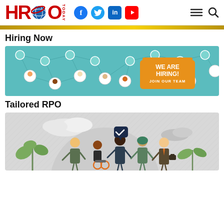HRO Today — navigation header with logo, social icons (Facebook, Twitter, LinkedIn, YouTube), hamburger menu, and search
[Figure (illustration): Gold/yellow horizontal decorative bar]
Hiring Now
[Figure (illustration): Teal network illustration with diverse professional avatars connected by lines, featuring an orange box with text 'WE ARE HIRING! JOIN OUR TEAM']
Tailored RPO
[Figure (illustration): Gray-toned illustration showing diverse group of professionals including a person in a wheelchair, with a checkmark speech bubble, plants, and clouds in background]